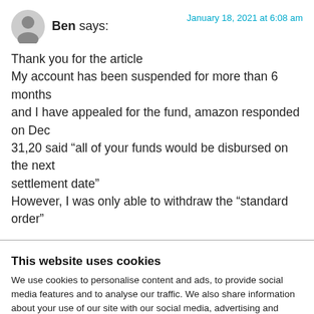Ben says:
January 18, 2021 at 6:08 am
Thank you for the article
My account has been suspended for more than 6 months and I have appealed for the fund, amazon responded on Dec 31,20 said “all of your funds would be disbursed on the next settlement date”
However, I was only able to withdraw the “standard order”
This website uses cookies
We use cookies to personalise content and ads, to provide social media features and to analyse our traffic. We also share information about your use of our site with our social media, advertising and analytics partners who may combine it with other information that you’ve provided to them or that they’ve collected from your use of their services. You consent to our cookies if you continue to use our website.
OK
Necessary   Preferences   Statistics
Marketing   Show details